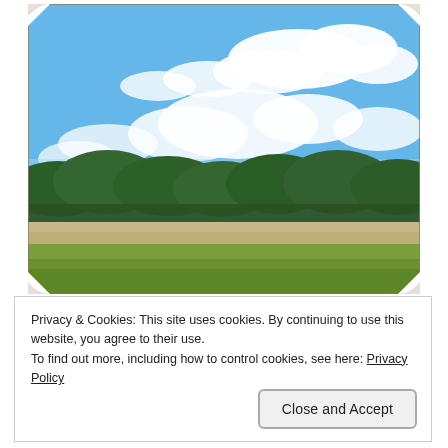[Figure (photo): Outdoor landscape photo with decorative notched/scalloped corners. Scene shows a sunny day with blue sky and white clouds in the upper portion, green trees and mangroves in the middle, a glimpse of blue water/bay behind the trees, sandy ground, and a grassy lawn in the foreground.]
Privacy & Cookies: This site uses cookies. By continuing to use this website, you agree to their use.
To find out more, including how to control cookies, see here: Privacy Policy
Close and Accept